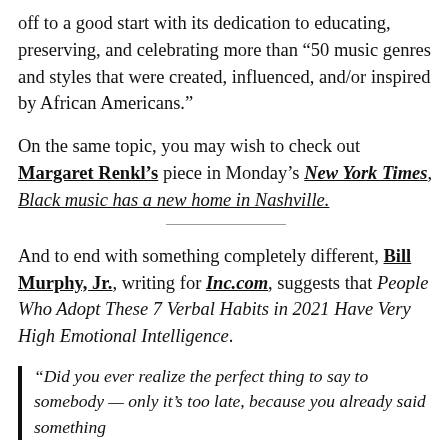off to a good start with its dedication to educating, preserving, and celebrating more than “50 music genres and styles that were created, influenced, and/or inspired by African Americans.”
On the same topic, you may wish to check out Margaret Renkl’s piece in Monday’s New York Times, Black music has a new home in Nashville.
And to end with something completely different, Bill Murphy, Jr., writing for Inc.com, suggests that People Who Adopt These 7 Verbal Habits in 2021 Have Very High Emotional Intelligence.
“Did you ever realize the perfect thing to say to somebody — only it’s too late, because you already said something